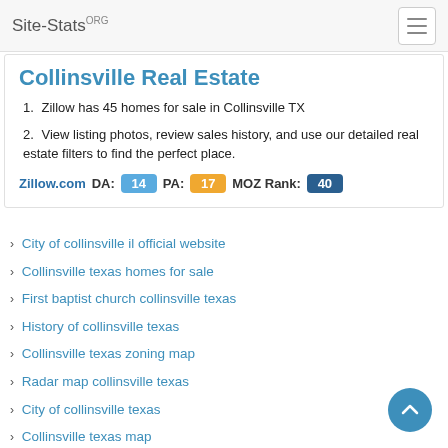Site-Stats.ORG
Collinsville Real Estate
Zillow has 45 homes for sale in Collinsville TX
View listing photos, review sales history, and use our detailed real estate filters to find the perfect place.
Zillow.com  DA: 14  PA: 17  MOZ Rank: 40
City of collinsville il official website
Collinsville texas homes for sale
First baptist church collinsville texas
History of collinsville texas
Collinsville texas zoning map
Radar map collinsville texas
City of collinsville texas
Collinsville texas map